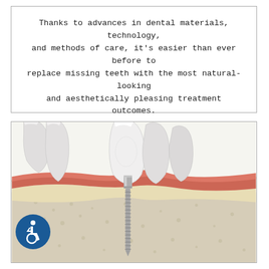Thanks to advances in dental materials, technology, and methods of care, it's easier than ever before to replace missing teeth with the most natural-looking and aesthetically pleasing treatment outcomes.
Click to Learn More
[Figure (illustration): Medical illustration showing a cross-section of a dental implant inserted into the jawbone, surrounded by natural teeth. The implant has a threaded titanium post in the bone (shown as a beige/grey granular material), with a metal abutment above, and a white crown matching surrounding teeth. The gum tissue is shown in pink/red layers above the bone.]
[Figure (logo): Accessibility icon: dark blue circle with white wheelchair user symbol]